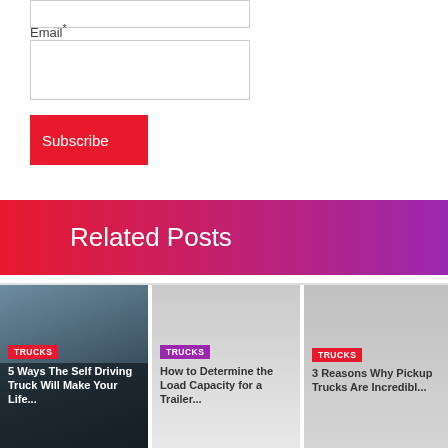Email*
[Figure (other): Subscribe form with email input field and red Subscribe button]
Related Posts
[Figure (photo): Card 1: Truck photo with TRUCKS tag and title '5 Ways The Self Driving Truck Will Make Your Life...']
[Figure (photo): Card 2: Gray background with TRUCKS tag and title 'How to Determine the Load Capacity for a Trailer...']
[Figure (photo): Card 3: Gray background with TRUCKS tag and title '3 Reasons Why Pickup Trucks Are Incredibl...']